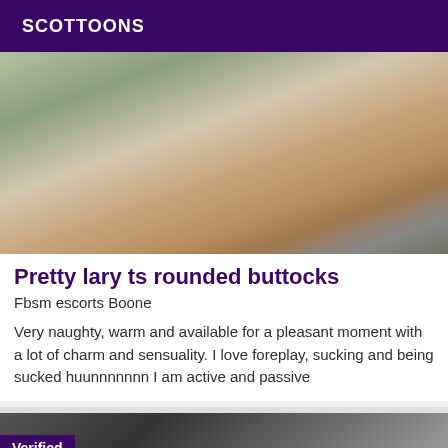SCOTTOONS
[Figure (photo): Woman in floral top and thong showing buttocks, leaning against a column in an outdoor terrace setting with garden furniture and potted plants]
Pretty lary ts rounded buttocks
Fbsm escorts Boone
Very naughty, warm and available for a pleasant moment with a lot of charm and sensuality. I love foreplay, sucking and being sucked huunnnnnnn I am active and passive
[Figure (photo): Person in dark jacket, partially visible, with a 'Verified' badge overlay]